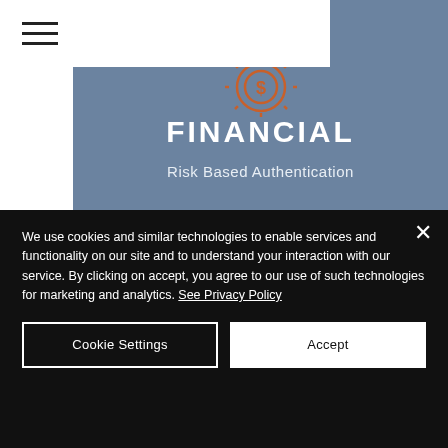[Figure (screenshot): Hamburger menu icon (three horizontal lines) in top-left white bar area]
FINANCIAL
Risk Based Authentication
[Figure (illustration): Orange bank/financial icon with circular element on steel-blue card background]
We use cookies and similar technologies to enable services and functionality on our site and to understand your interaction with our service. By clicking on accept, you agree to our use of such technologies for marketing and analytics. See Privacy Policy